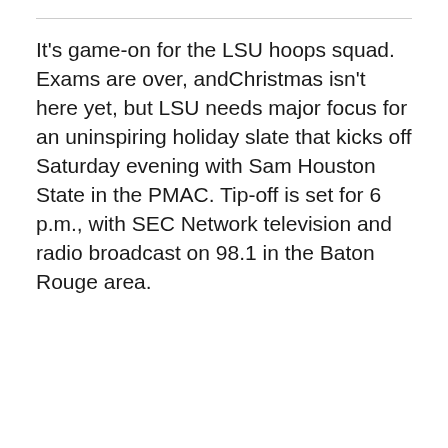It's game-on for the LSU hoops squad. Exams are over, andChristmas isn't here yet, but LSU needs major focus for an uninspiring holiday slate that kicks off Saturday evening with Sam Houston State in the PMAC. Tip-off is set for 6 p.m., with SEC Network television and radio broadcast on 98.1 in the Baton Rouge area.